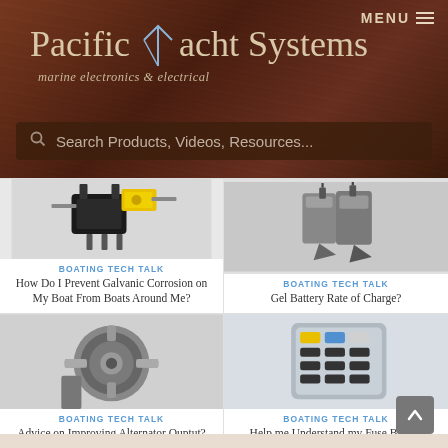Pacific Yacht Systems — marine electronics & electrical
Search Products, Videos, Resources...
[Figure (photo): Electronic relay/connector component photo]
BOATING TECH TALK
How Do I Prevent Galvanic Corrosion on My Boat From Boats Around Me?
[Figure (photo): Electrical connectors/clips photo]
BOATING TECH TALK
Gel Battery Rate of Charge?
[Figure (photo): Car alternator photo]
BOATING TECH TALK
Advice on Improving Alternator Ouptut?
[Figure (photo): Fuse block/circuit breaker panel photo]
BOATING TECH TALK
Help me Understand my Fuse Block?